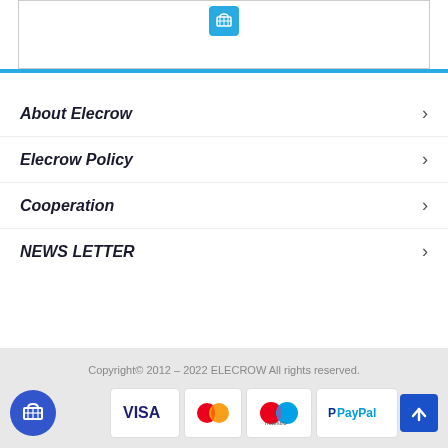[Figure (screenshot): Shopping cart icon in blue square at top]
About Elecrow
Elecrow Policy
Cooperation
NEWS LETTER
Copyright© 2012 – 2022 ELECROW All rights reserved.
[Figure (logo): Payment method logos: VISA, Mastercard, Maestro, PayPal]